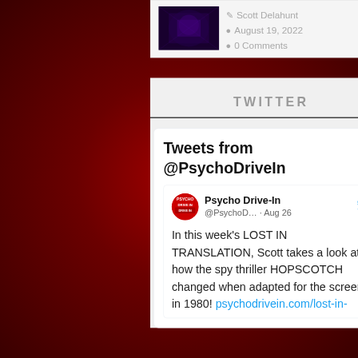[Figure (photo): Thumbnail image with dark purple/blue tones]
Scott Delahunt
August 19, 2022
0 Comments
TWITTER
Tweets from @PsychoDriveIn
Psycho Drive-In @PsychoD… · Aug 26
In this week's LOST IN TRANSLATION, Scott takes a look at how the spy thriller HOPSCOTCH changed when adapted for the screen in 1980! psychodrivein.com/lost-in-